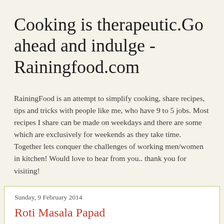Cooking is therapeutic.Go ahead and indulge - Rainingfood.com
RainingFood is an attempt to simplify cooking, share recipes, tips and tricks with people like me, who have 9 to 5 jobs. Most recipes I share can be made on weekdays and there are some which are exclusively for weekends as they take time. Together lets conquer the challenges of working men/women in kitchen! Would love to hear from you.. thank you for visiting!
Sunday, 9 February 2014
Roti Masala Papad
Masala papad - favourite starter before a meal for all Indians!!  It is a spread of vegetable khachumbar on papad and topped with some salt, amchur powder and red chilli